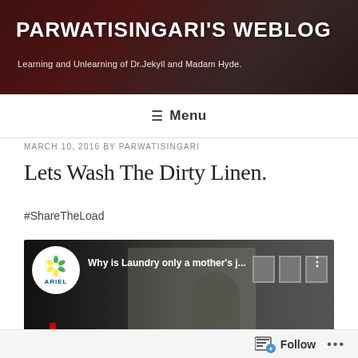PARWATISINGARI'S WEBLOG
Learning and Unlearning of Dr.Jekyll and Madam Hyde.
≡ Menu
MARCH 10, 2016 BY PARWATISINGARI
Lets Wash The Dirty Linen.
#ShareTheLoad
[Figure (screenshot): Embedded YouTube video thumbnail showing Ariel brand advertisement titled 'Why is Laundry only a mother's j...' with Ariel logo, YouTube logo, and a video still of a person in a room.]
Follow ...